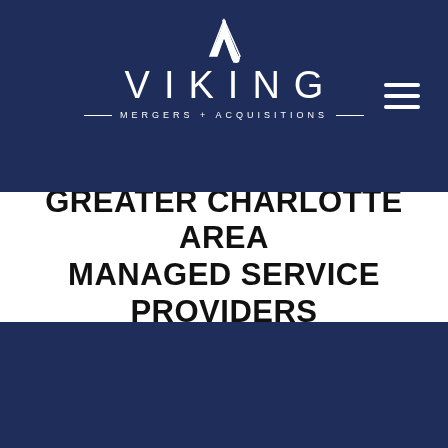[Figure (logo): Viking Mergers + Acquisitions logo with stylized V mark above the word VIKING in wide-spaced white letters, and 'MERGERS + ACQUISITIONS' in smaller spaced letters with horizontal rules on a dark navy background]
GREATER CHARLOTTE AREA MANAGED SERVICE PROVIDERS